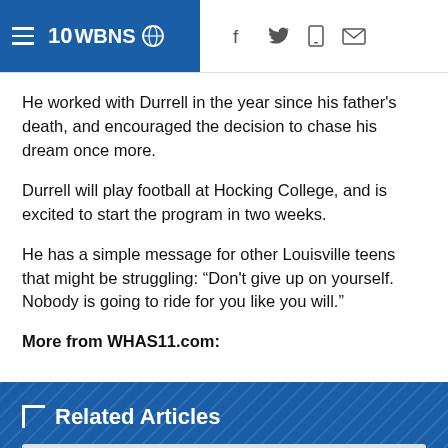10WBNS CBS
He worked with Durrell in the year since his father's death, and encouraged the decision to chase his dream once more.
Durrell will play football at Hocking College, and is excited to start the program in two weeks.
He has a simple message for other Louisville teens that might be struggling: “Don't give up on yourself. Nobody is going to ride for you like you will.”
More from WHAS11.com:
Related Articles
Evictions in Kentucky to resume despite moratorium